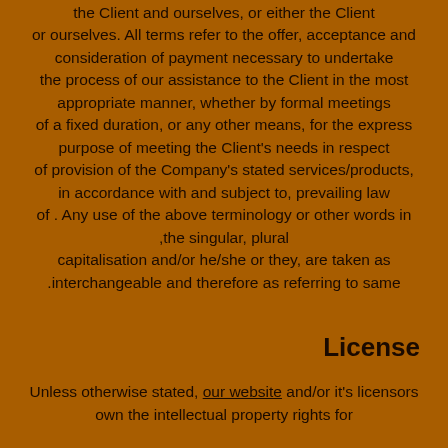the Client and ourselves, or either the Client or ourselves. All terms refer to the offer, acceptance and consideration of payment necessary to undertake the process of our assistance to the Client in the most appropriate manner, whether by formal meetings of a fixed duration, or any other means, for the express purpose of meeting the Client's needs in respect of provision of the Company's stated services/products, in accordance with and subject to, prevailing law of . Any use of the above terminology or other words in the singular, plural, capitalisation and/or he/she or they, are taken as interchangeable and therefore as referring to same.
License
Unless otherwise stated, our website and/or it's licensors own the intellectual property rights for